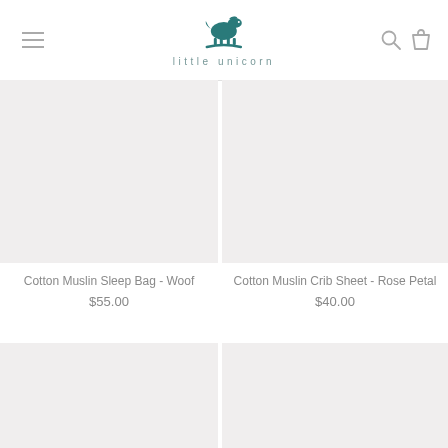[Figure (logo): Little Unicorn rocking horse logo in teal with text 'little unicorn' below]
Cotton Muslin Sleep Bag - Woof
$55.00
Cotton Muslin Crib Sheet - Rose Petal
$40.00
[Figure (photo): Product image placeholder bottom left]
[Figure (photo): Product image placeholder bottom right]